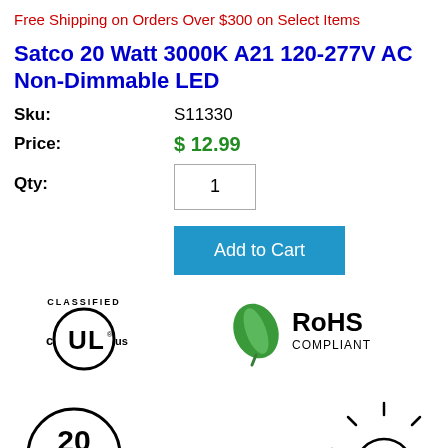Free Shipping on Orders Over $300 on Select Items
Satco 20 Watt 3000K A21 120-277V AC Non-Dimmable LED
Sku: S11330
Price: $ 12.99
Qty: 1
Add to Cart
[Figure (logo): UL Classified cULus certification badge]
[Figure (logo): RoHS Compliant badge with green leaf]
[Figure (logo): 20 Watt circular badge (partially visible)]
[Figure (logo): Sun/light icon (partially visible)]